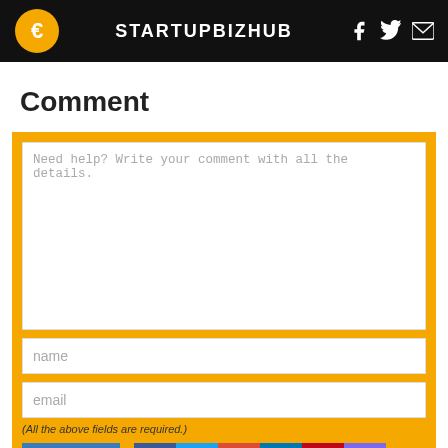STARTUPBIZHUB
Comment
Need help? Write your comment with all the details.
(All the above fields are required.)
Submit